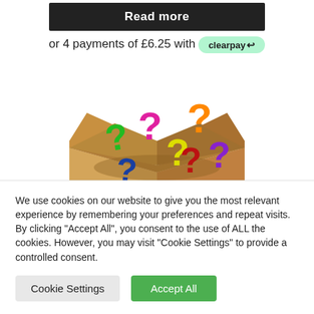Read more
or 4 payments of £6.25 with clearpay
[Figure (illustration): Colorful question marks bursting out of an open cardboard box]
We use cookies on our website to give you the most relevant experience by remembering your preferences and repeat visits. By clicking "Accept All", you consent to the use of ALL the cookies. However, you may visit "Cookie Settings" to provide a controlled consent.
Cookie Settings
Accept All